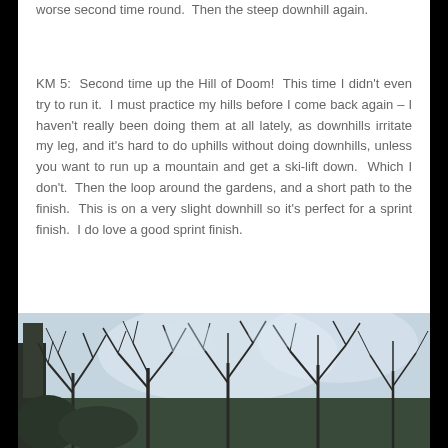worse second time round.  Then the steep downhill again.
KM 5:  Second time up the Hill of Doom!  This time I didn't even try to run it.  I must practice my hills before I come back again – I haven't really been doing them at all lately, as downhills irritate my leg, and it's hard to do uphills without doing downhills, unless you want to run up a mountain and get a ski-lift down.  Which I don't.  Then the loop around the gardens, and a short path to the finish.  This is on a very slight downhill so it's perfect for a sprint finish.  I do love a good sprint finish.
[Figure (photo): Outdoor photograph showing bare winter trees with branches against a light sky, with some dark foliage and a structure visible on the left side.]